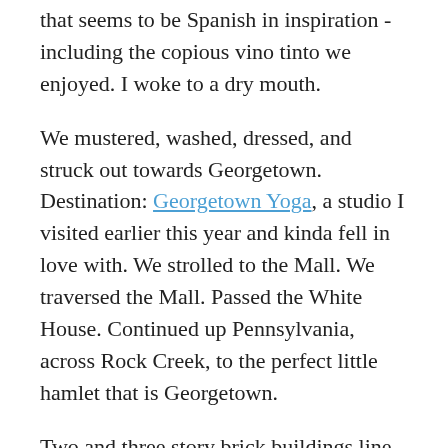that seems to be Spanish in inspiration - including the copious vino tinto we enjoyed. I woke to a dry mouth.
We mustered, washed, dressed, and struck out towards Georgetown. Destination: Georgetown Yoga, a studio I visited earlier this year and kinda fell in love with. We strolled to the Mall. We traversed the Mall. Passed the White House. Continued up Pennsylvania, across Rock Creek, to the perfect little hamlet that is Georgetown.
Two and three story brick buildings line the way, Georgetown Yoga is on the second floor of one of the first rows, next to Taj of India and above an